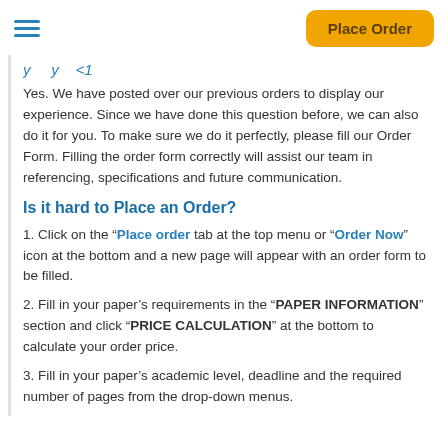Place Order
Yes. We have posted over our previous orders to display our experience. Since we have done this question before, we can also do it for you. To make sure we do it perfectly, please fill our Order Form. Filling the order form correctly will assist our team in referencing, specifications and future communication.
Is it hard to Place an Order?
1. Click on the "Place order" tab at the top menu or "Order Now" icon at the bottom and a new page will appear with an order form to be filled.
2. Fill in your paper's requirements in the "PAPER INFORMATION" section and click "PRICE CALCULATION" at the bottom to calculate your order price.
3. Fill in your paper's academic level, deadline and the required number of pages from the drop-down menus.